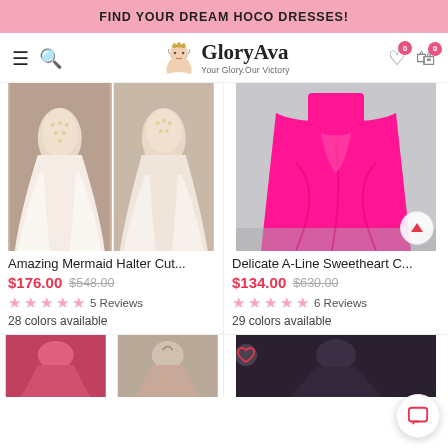FIND YOUR DREAM HOCO DRESSES!
[Figure (screenshot): GloryAva website navigation bar with hamburger menu, search icon, GloryAva logo, wishlist and cart icons with 0 badges]
[Figure (photo): Two-panel image of Amazing Mermaid Halter Cut dress — pearl/beaded bodice with tulle skirt]
Amazing Mermaid Halter Cut...
$176.00  $548.00
★ ★ ★ ★ ★  5 Reviews
28 colors available
[Figure (photo): Photo of Delicate A-Line Sweetheart dress in hot pink/fuchsia chiffon ball gown style]
Delicate A-Line Sweetheart C...
$134.00  $630.00
★ ★ ★ ★ ★  6 Reviews
29 colors available
[Figure (photo): Bottom product row left: two small images of red/pink dresses from front and back]
[Figure (photo): Bottom product row right: dark image of a dress with pink heart icon overlay]